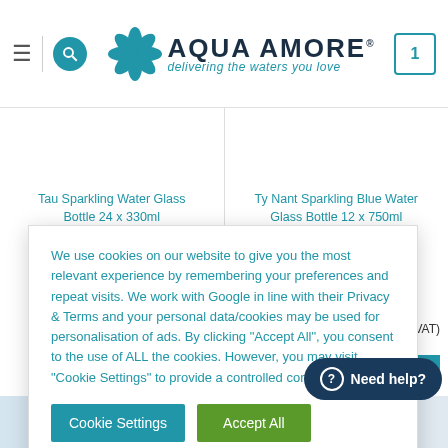[Figure (screenshot): Aqua Amore website header with hamburger menu, search button, logo with flower icon, tagline 'delivering the waters you love', and cart icon showing 1 item]
Tau Sparkling Water Glass Bottle 24 x 330ml
Ty Nant Sparkling Blue Water Glass Bottle 12 x 750ml
We use cookies on our website to give you the most relevant experience by remembering your preferences and repeat visits. We work with Google in line with their Privacy & Terms and your personal data/cookies may be used for personalisation of ads. By clicking “Accept All”, you consent to the use of ALL the cookies. However, you may visit “Cookie Settings” to provide a controlled consent.
VAT (£22.91 Ex. VAT)
ADD TO BASKET
Cookie Settings
Accept All
Need help?